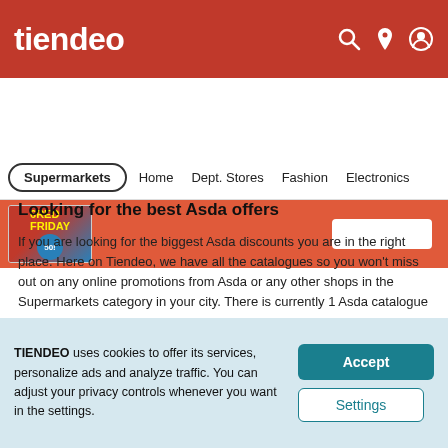tiendeo
[Figure (screenshot): Tiendeo website navigation bar with Supermarkets, Home, Dept. Stores, Fashion, Electronics categories and a promotional banner showing a Black Friday catalogue thumbnail]
Looking for the best Asda offers
If you are looking for the biggest Asda discounts you are in the right place. Here on Tiendeo, we have all the catalogues so you won't miss out on any online promotions from Asda or any other shops in the Supermarkets category in your city. There is currently 1 Asda catalogue on Tiendeo. Browse the latest Asda catalogue "Asda Sale" valid from 18/08/2022 to 01/09/2022 and start saving now!
TIENDEO uses cookies to offer its services, personalize ads and analyze traffic. You can adjust your privacy controls whenever you want in the settings.